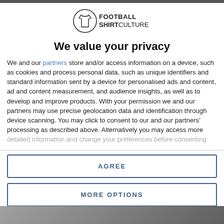[Figure (logo): Football Shirt Culture logo — circle with shirt icon and text FOOTBALL SHIRTCULTURE]
We value your privacy
We and our partners store and/or access information on a device, such as cookies and process personal data, such as unique identifiers and standard information sent by a device for personalised ads and content, ad and content measurement, and audience insights, as well as to develop and improve products. With your permission we and our partners may use precise geolocation data and identification through device scanning. You may click to consent to our and our partners' processing as described above. Alternatively you may access more detailed information and change your preferences before consenting
AGREE
MORE OPTIONS